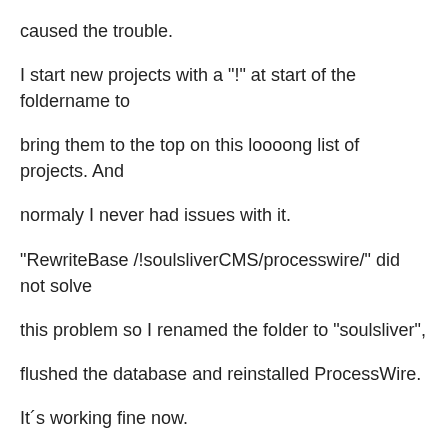caused the trouble.
I start new projects with a "!" at start of the foldername to
bring them to the top on this loooong list of projects. And
normaly I never had issues with it.
"RewriteBase /!soulsliverCMS/processwire/" did not solve
this problem so I renamed the folder to "soulsliver",
flushed the database and reinstalled ProcessWire.
It´s working fine now.